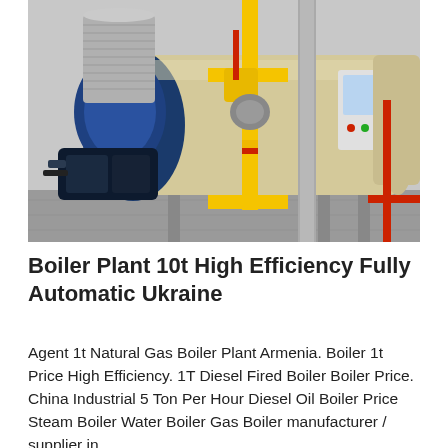[Figure (photo): Industrial boiler plant showing a large horizontal cylindrical boiler tank in beige/tan color with blue front housing and burner assembly on the left. Yellow gas pipes and valves are visible in the center foreground. A control panel is mounted on the right side of the boiler. The equipment is installed in an industrial facility with concrete flooring.]
Boiler Plant 10t High Efficiency Fully Automatic Ukraine
Agent 1t Natural Gas Boiler Plant Armenia. Boiler 1t Price High Efficiency. 1T Diesel Fired Boiler Boiler Price. China Industrial 5 Ton Per Hour Diesel Oil Boiler Price Steam Boiler Water Boiler Gas Boiler manufacturer / supplier in...